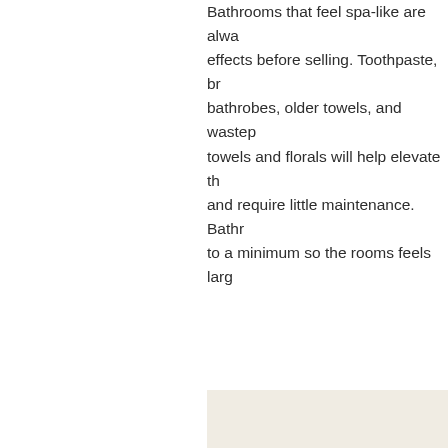Bathrooms that feel spa-like are always effects before selling. Toothpaste, br bathrobes, older towels, and wastepa towels and florals will help elevate th and require little maintenance. Bathr to a minimum so the rooms feels larg
[Figure (photo): A person with long blonde hair photographed from behind or at an angle, against a light cream/beige background, visible from roughly the shoulders up.]